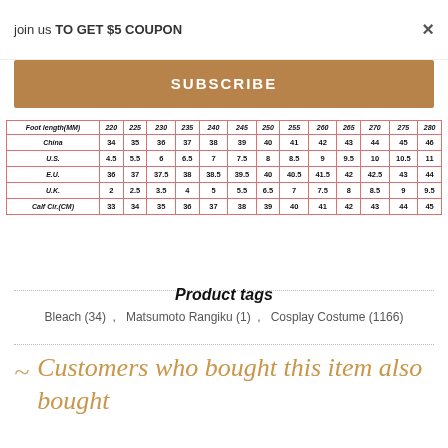join us TO GET $5 COUPON
×
SUBSCRIBE
| Foot length(MM) | 220 | 225 | 230 | 235 | 240 | 245 | 250 | 255 | 260 | 265 | 270 | 275 | 280 |
| --- | --- | --- | --- | --- | --- | --- | --- | --- | --- | --- | --- | --- | --- |
| China | 34 | 35 | 36 | 37 | 38 | 39 | 40 | 41 | 42 | 43 | 44 | 45 | 46 |
| U.S. | 4.5 | 5.5 | 6 | 6.5 | 7 | 7.5 | 8 | 8.5 | 9 | 9.5 | 10 | 10.5 | 11 |
| E.U. | 36 | 37 | 37.5 | 38 | 38.5 | 39.5 | 40 | 40.5 | 41.5 | 42 | 42.5 | 43 | 44 |
| U.K. | 2 | 2.5 | 3.5 | 4 | 5 | 5.5 | 6.5 | 7 | 7.5 | 8 | 8.5 | 9 | 9.5 |
| Calf Cir.(CM) | 33 | 34 | 35 | 36 | 37 | 38 | 39 | 40 | 41 | 42 | 43 | 44 | 45 |
Product tags
Bleach (34) ,   Matsumoto Rangiku (1) ,   Cosplay Costume (1166)
Customers who bought this item also bought